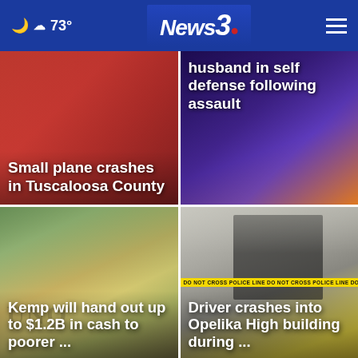☁ 73° | News 3 | ≡
[Figure (photo): Red background photo — Small plane crashes in Tuscaloosa County]
Small plane crashes in Tuscaloosa County
[Figure (photo): Purple/dark background photo — Woman shoots husband in self defense following assault]
husband in self defense following assault
[Figure (photo): US dollar bills scattered — Kemp will hand out up to $1.2B in cash to poorer ...]
Kemp will hand out up to $1.2B in cash to poorer ...
[Figure (photo): Damaged building with hole in wall, crime scene tape — Driver crashes into Opelika High building during ...]
Driver crashes into Opelika High building during ...